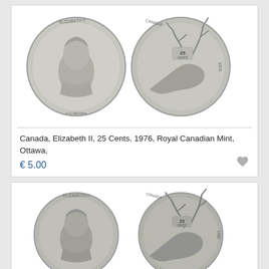[Figure (photo): Two Canadian 25 cent coins from 1976 showing obverse (Elizabeth II portrait) and reverse (caribou head)]
Canada, Elizabeth II, 25 Cents, 1976, Royal Canadian Mint, Ottawa,
€ 5.00
[Figure (photo): Two Canadian 25 cent coins from 1982 showing obverse (Elizabeth II portrait) and reverse (caribou head)]
Canada, Elizabeth II, 25 Cents, 1982, Royal Canadian Mint, Ottawa,
€ 5.00